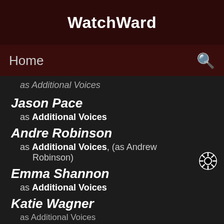WatchWard
Home
as Additional Voices
Jason Pace
as Additional Voices
Andre Robinson
as Additional Voices, (as Andrew Robinson)
Emma Shannon
as Additional Voices
Katie Wagner
as Additional Voices